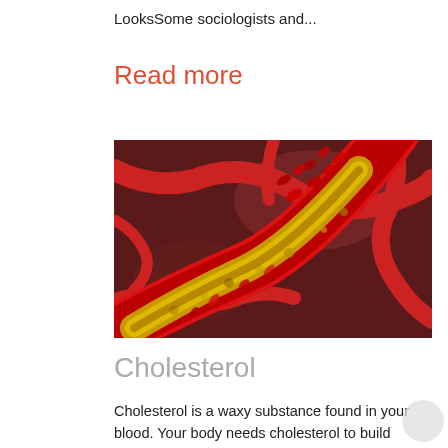LooksSome sociologists and...
Read more
[Figure (photo): 3D medical illustration of a cross-section of a blood vessel/artery showing cholesterol plaque buildup (yellow deposits) with red blood cells inside, surrounded by a network of red blood vessels on a dark brownish-red background.]
Cholesterol
Cholesterol is a waxy substance found in your blood. Your body needs cholesterol to build healthy cells, but high levels of cholesterol can